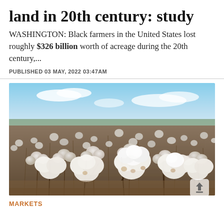land in 20th century: study
WASHINGTON: Black farmers in the United States lost roughly $326 billion worth of acreage during the 20th century,...
PUBLISHED 03 MAY, 2022 03:47AM
[Figure (photo): A cotton field in full bloom with white cotton bolls covering the plants, blue sky in the background.]
MARKETS